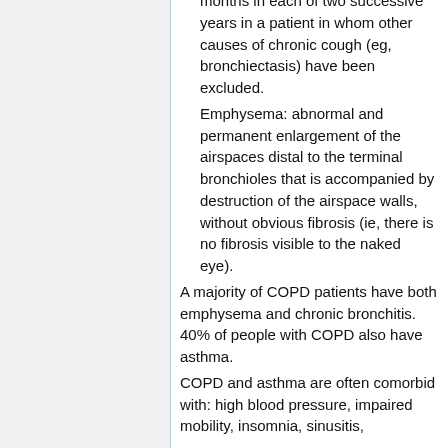months in each of two successive years in a patient in whom other causes of chronic cough (eg, bronchiectasis) have been excluded.
Emphysema: abnormal and permanent enlargement of the airspaces distal to the terminal bronchioles that is accompanied by destruction of the airspace walls, without obvious fibrosis (ie, there is no fibrosis visible to the naked eye).
A majority of COPD patients have both emphysema and chronic bronchitis. 40% of people with COPD also have asthma.
COPD and asthma are often comorbid with: high blood pressure, impaired mobility, insomnia, sinusitis,